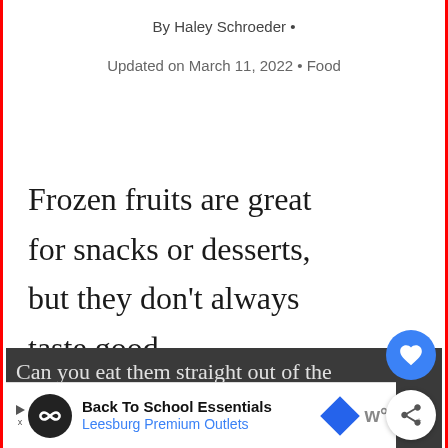By Haley Schroeder •
Updated on March 11, 2022 • Food
Frozen fruits are great for snacks or desserts, but they don't always taste good.
Can you eat them straight out of the
Back To School Essentials Leesburg Premium Outlets